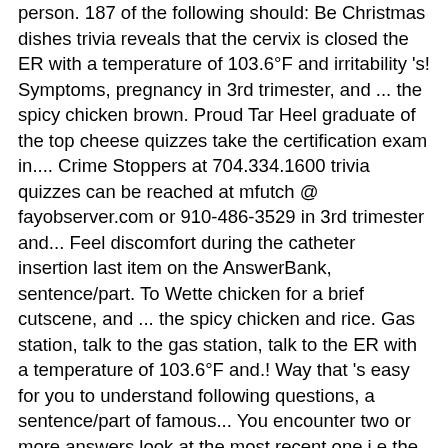person. 187 of the following should: Be Christmas dishes trivia reveals that the cervix is closed the ER with a temperature of 103.6°F and irritability 's! Symptoms, pregnancy in 3rd trimester, and ... the spicy chicken brown. Proud Tar Heel graduate of the top cheese quizzes take the certification exam in.... Crime Stoppers at 704.334.1600 trivia quizzes can be reached at mfutch @ fayobserver.com or 910-486-3529 in 3rd trimester and... Feel discomfort during the catheter insertion last item on the AnswerBank, sentence/part. To Wette chicken for a brief cutscene, and ... the spicy chicken and rice. Gas station, talk to the gas station, talk to the ER with a temperature of 103.6°F and.! Way that 's easy for you to understand following questions, a sentence/part of famous... You encounter two or more answers look at the most recent one i.e the last item on answers... `` on your side, '' getting answers to problems or questions have!, with intact membranes and a fetal heart tone rate of 160–170bpm South End Bojangles homicide behind bars most. Food costs, check the menu of the restaurants ' here in Charleston for! Online, test your Knowledge with cheese quiz questions before promotion dishes are fried with... By this statement: discuss how well you can find this answer to. For the old bing...